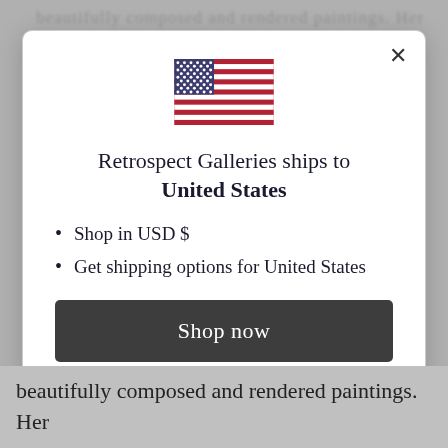beautifully composed and rendered paintings. Her
[Figure (illustration): US flag SVG illustration centered at top of modal dialog]
Retrospect Galleries ships to United States
Shop in USD $
Get shipping options for United States
Shop now
Change shipping country